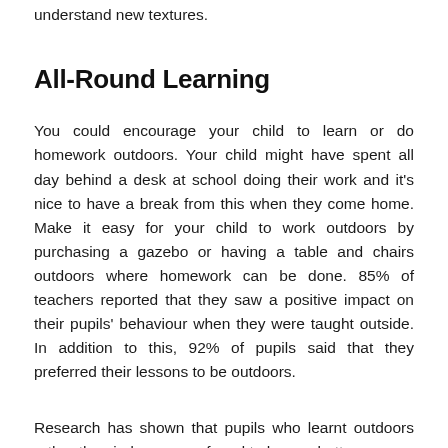understand new textures.
All-Round Learning
You could encourage your child to learn or do homework outdoors. Your child might have spent all day behind a desk at school doing their work and it's nice to have a break from this when they come home. Make it easy for your child to work outdoors by purchasing a gazebo or having a table and chairs outdoors where homework can be done. 85% of teachers reported that they saw a positive impact on their pupils' behaviour when they were taught outside. In addition to this, 92% of pupils said that they preferred their lessons to be outdoors.
Research has shown that pupils who learnt outdoors rather than indoors were found to have a better